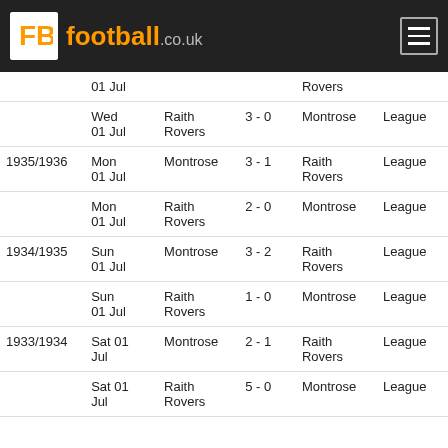FB football.co.uk
| Season | Date | Home | Score | Away | Type |
| --- | --- | --- | --- | --- | --- |
|  | 01 Jul |  |  | Rovers |  |
|  | Wed 01 Jul | Raith Rovers | 3 - 0 | Montrose | League |
| 1935/1936 | Mon 01 Jul | Montrose | 3 - 1 | Raith Rovers | League |
|  | Mon 01 Jul | Raith Rovers | 2 - 0 | Montrose | League |
| 1934/1935 | Sun 01 Jul | Montrose | 3 - 2 | Raith Rovers | League |
|  | Sun 01 Jul | Raith Rovers | 1 - 0 | Montrose | League |
| 1933/1934 | Sat 01 Jul | Montrose | 2 - 1 | Raith Rovers | League |
|  | Sat 01 Jul | Raith Rovers | 5 - 0 | Montrose | League |